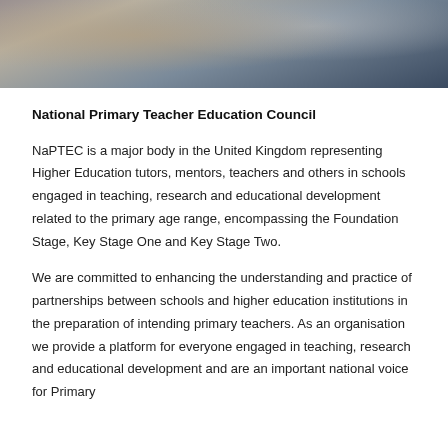[Figure (photo): Cropped photograph showing people seated around a table with papers/documents, partially visible from waist up, with a dark blue tablecloth.]
National Primary Teacher Education Council
NaPTEC is a major body in the United Kingdom representing Higher Education tutors, mentors, teachers and others in schools engaged in teaching, research and educational development related to the primary age range, encompassing the Foundation Stage, Key Stage One and Key Stage Two.
We are committed to enhancing the understanding and practice of partnerships between schools and higher education institutions in the preparation of intending primary teachers. As an organisation we provide a platform for everyone engaged in teaching, research and educational development and are an important national voice for Primary